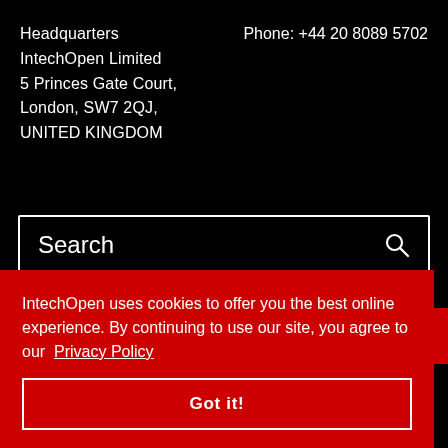Headquarters
Phone: +44 20 8089 5702
IntechOpen Limited
5 Princes Gate Court,
London, SW7 2QJ,
UNITED KINGDOM
[Figure (screenshot): Search input box with magnifying glass icon]
AUTHOR PANEL SIGN IN
IntechOpen uses cookies to offer you the best online experience. By continuing to use our site, you agree to our Privacy Policy
Got it!